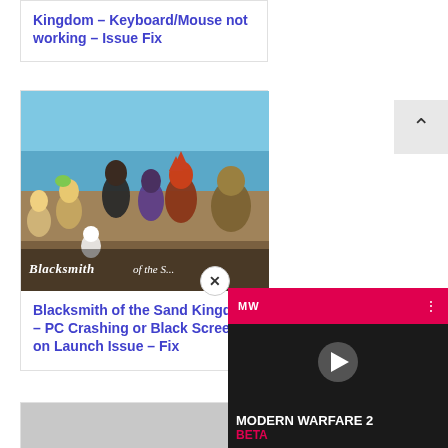Kingdom – Keyboard/Mouse not working – Issue Fix
[Figure (screenshot): Blacksmith of the Sand Kingdom game cover art showing anime-style characters including a red-haired protagonist, with game logo text visible]
Blacksmith of the Sand Kingdom – PC Crashing or Black Screen on Launch Issue – Fix
[Figure (screenshot): Modern Warfare 2 Beta video player overlay with MW logo on red bar and play button]
[Figure (screenshot): Partial image of another article at the bottom]